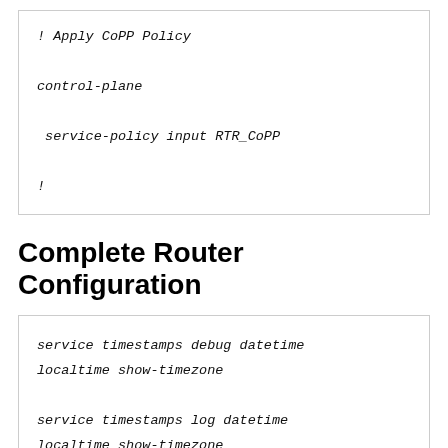! Apply CoPP Policy

control-plane

 service-policy input RTR_CoPP

!
Complete Router Configuration
service timestamps debug datetime localtime show-timezone

service timestamps log datetime localtime show-timezone